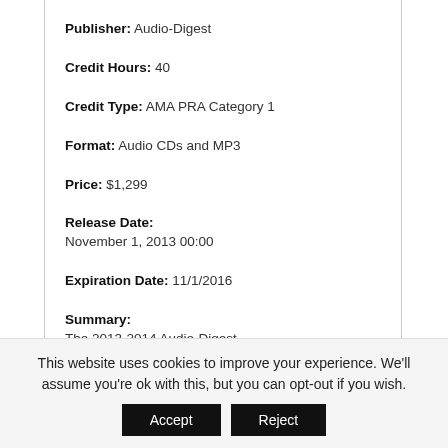Publisher: Audio-Digest
Credit Hours: 40
Credit Type: AMA PRA Category 1
Format: Audio CDs and MP3
Price: $1,299
Release Date:
November 1, 2013 00:00
Expiration Date: 11/1/2016
Summary:
The 2013-2014 Audio-Digest Emergency Medicine Board Review Course equips learners with all-new
This website uses cookies to improve your experience. We'll assume you're ok with this, but you can opt-out if you wish.